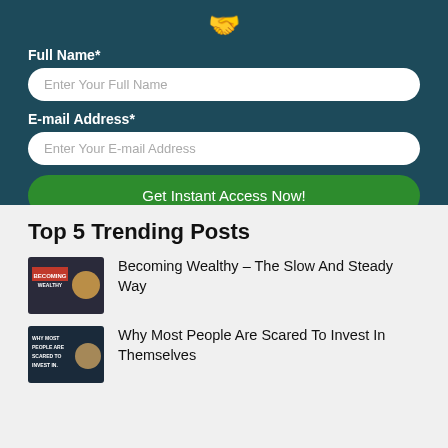Full Name*
Enter Your Full Name
E-mail Address*
Enter Your E-mail Address
Get Instant Access Now!
Top 5 Trending Posts
Becoming Wealthy – The Slow And Steady Way
Why Most People Are Scared To Invest In Themselves